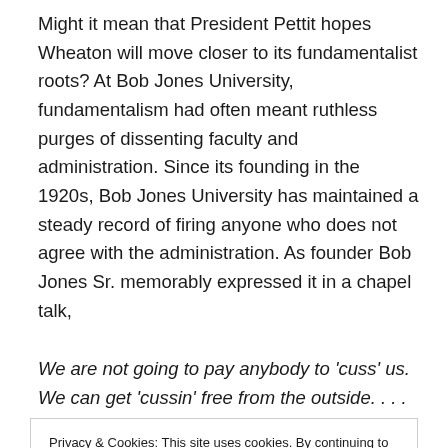Might it mean that President Pettit hopes Wheaton will move closer to its fundamentalist roots? At Bob Jones University, fundamentalism had often meant ruthless purges of dissenting faculty and administration. Since its founding in the 1920s, Bob Jones University has maintained a steady record of firing anyone who does not agree with the administration. As founder Bob Jones Sr. memorably expressed it in a chapel talk,
We are not going to pay anybody to 'cuss' us. We can get 'cussin' free from the outside. . . . We have never been a
Privacy & Cookies: This site uses cookies. By continuing to use this website, you agree to their use. To find out more, including how to control cookies, see here: Cookie Policy